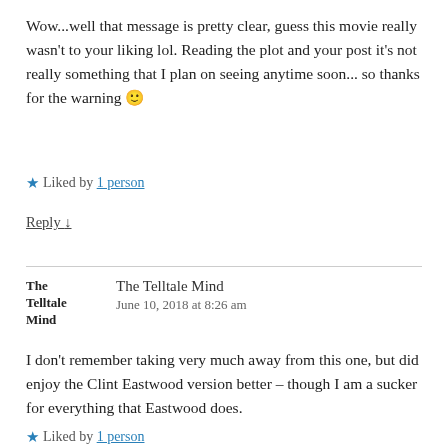Wow...well that message is pretty clear, guess this movie really wasn't to your liking lol. Reading the plot and your post it's not really something that I plan on seeing anytime soon... so thanks for the warning 🙂
★ Liked by 1 person
Reply ↓
The Telltale Mind — The Telltale Mind — June 10, 2018 at 8:26 am
I don't remember taking very much away from this one, but did enjoy the Clint Eastwood version better – though I am a sucker for everything that Eastwood does.
★ Liked by 1 person